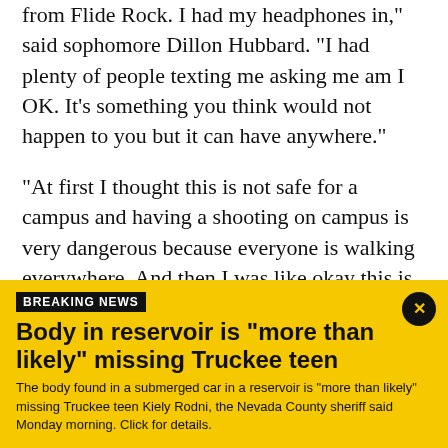from Flide Rock. I had my headphones in," said sophomore Dillon Hubbard. "I had plenty of people texting me asking me am I OK. It's something you think would not happen to you but it can have anywhere."
"At first I thought this is not safe for a campus and having a shooting on campus is very dangerous because everyone is walking everywhere. And then I was like okay this is different," said Natalie Castillo, a freshman.
All classes and campus activities were canceled through
BREAKING NEWS
Body in reservoir is "more than likely" missing Truckee teen
The body found in a submerged car in a reservoir is "more than likely" missing Truckee teen Kiely Rodni, the Nevada County sheriff said Monday morning. Click for details.